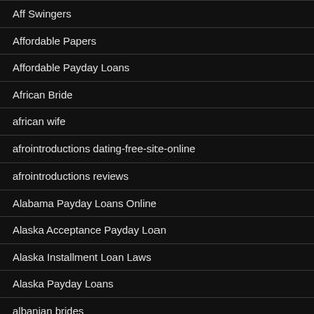Aff Swingers
Affordable Papers
Affordable Payday Loans
African Bride
african wife
afrointroductions dating-free-site-online
afrointroductions reviews
Alabama Payday Loans Online
Alaska Acceptance Payday Loan
Alaska Installment Loan Laws
Alaska Payday Loans
albanian brides